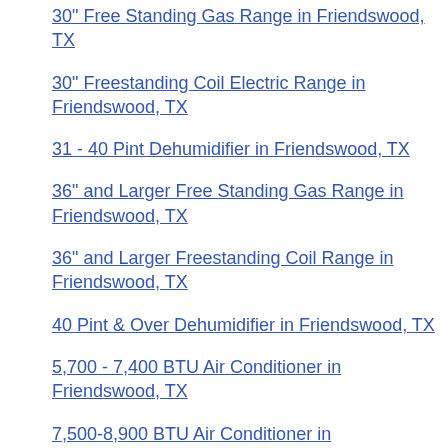30" Free Standing Gas Range in Friendswood, TX
30" Freestanding Coil Electric Range in Friendswood, TX
31 - 40 Pint Dehumidifier in Friendswood, TX
36" and Larger Free Standing Gas Range in Friendswood, TX
36" and Larger Freestanding Coil Range in Friendswood, TX
40 Pint & Over Dehumidifier in Friendswood, TX
5,700 - 7,400 BTU Air Conditioner in Friendswood, TX
7,500-8,900 BTU Air Conditioner in Friendswood, TX
9,000 - 10,500 BTU Air Conditioner in Friendswood, TX
BBQ Accessories in Friendswood, TX
Bottom Freezer Built In Refrigerator in Friendswood